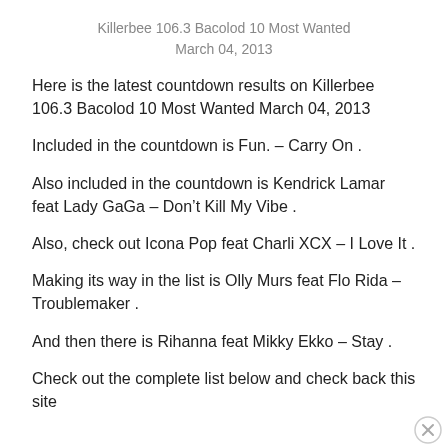Killerbee 106.3 Bacolod 10 Most Wanted
March 04, 2013
Here is the latest countdown results on Killerbee 106.3 Bacolod 10 Most Wanted March 04, 2013
Included in the countdown is Fun. – Carry On .
Also included in the countdown is Kendrick Lamar feat Lady GaGa – Don’t Kill My Vibe .
Also, check out Icona Pop feat Charli XCX – I Love It .
Making its way in the list is Olly Murs feat Flo Rida – Troublemaker .
And then there is Rihanna feat Mikky Ekko – Stay .
Check out the complete list below and check back this site